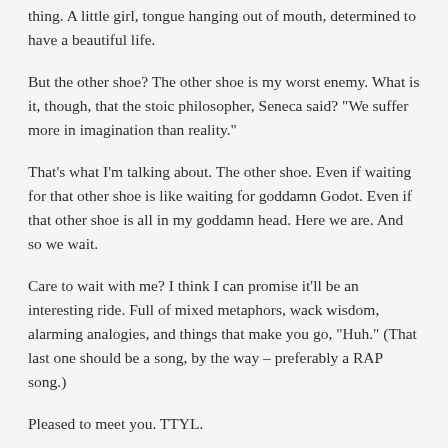thing. A little girl, tongue hanging out of mouth, determined to have a beautiful life.
But the other shoe? The other shoe is my worst enemy. What is it, though, that the stoic philosopher, Seneca said? "We suffer more in imagination than reality."
That's what I'm talking about. The other shoe. Even if waiting for that other shoe is like waiting for goddamn Godot. Even if that other shoe is all in my goddamn head. Here we are. And so we wait.
Care to wait with me? I think I can promise it'll be an interesting ride. Full of mixed metaphors, wack wisdom, alarming analogies, and things that make you go, "Huh." (That last one should be a song, by the way – preferably a RAP song.)
Pleased to meet you. TTYL.